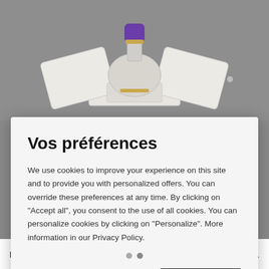[Figure (photo): Product photo of a perfume/cosmetic item in white packaging with purple cap, displayed open on a gray background. Isabey Perle de Gardenia fragrance.]
Vos préférences
We use cookies to improve your experience on this site and to provide you with personalized offers. You can override these preferences at any time. By clicking on "Accept all", you consent to the use of all cookies. You can personalize cookies by clicking on "Personalize". More information in our Privacy Policy.
Personalize
Accept all
PERLE DE GARDENIA
ISABEY
€237.50 (Tax Excl.)